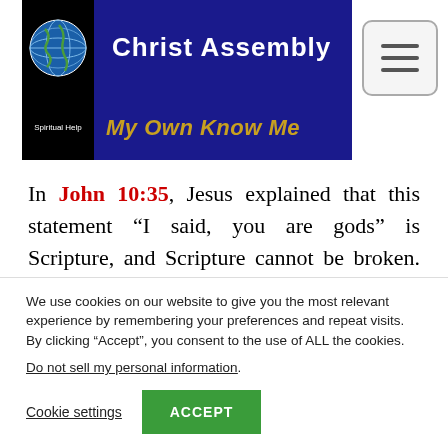[Figure (screenshot): Christ Assembly website header banner with globe icon, 'Christ Assembly' title in white on dark blue background, 'Spiritual Help' label, and 'My Own Know Me' subtitle in gold italic text. Hamburger menu button visible top right.]
In John 10:35, Jesus explained that this statement “I said, you are gods” is Scripture, and Scripture cannot be broken. Therefore, Jesus declared that the “you” of that phrase “You are gods” were, in fact
We use cookies on our website to give you the most relevant experience by remembering your preferences and repeat visits. By clicking “Accept”, you consent to the use of ALL the cookies.
Do not sell my personal information.
Cookie settings   ACCEPT